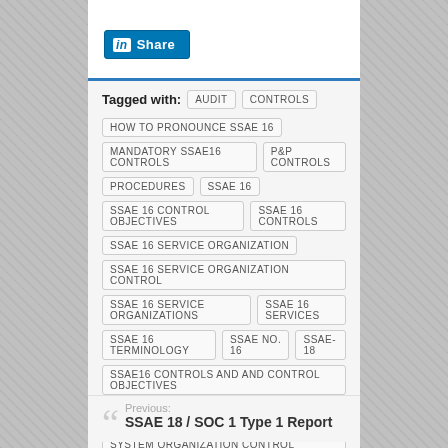[Figure (other): LinkedIn Share button with blue background and white text]
Tagged with: AUDIT  CONTROLS
HOW TO PRONOUNCE SSAE 16
MANDATORY SSAE16 CONTROLS
P&P CONTROLS
PROCEDURES
SSAE 16
SSAE 16 CONTROL OBJECTIVES
SSAE 16 CONTROLS
SSAE 16 SERVICE ORGANIZATION
SSAE 16 SERVICE ORGANIZATION CONTROL
SSAE 16 SERVICE ORGANIZATIONS
SSAE 16 SERVICES
SSAE 16 TERMINOLOGY
SSAE NO. 16
SSAE-18
SSAE16 CONTROLS AND AND CONTROL OBJECTIVES
SYSTEM AND ORGANIZATION CONTROL REPORT
SYSTEM ORGANIZATION CONTROL REPORT
Previous:
SSAE 18 / SOC 1 Type 1 Report